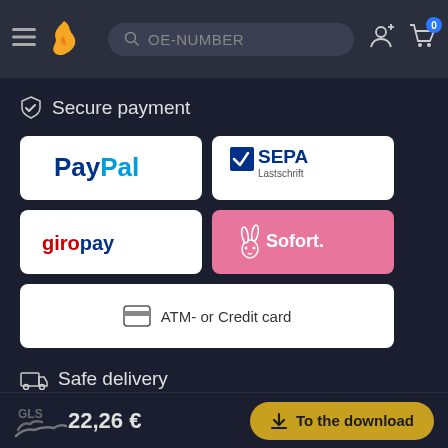OE-NUMBER search bar with hamburger menu, logo, user icon, cart icon (0)
Secure payment
[Figure (logo): PayPal logo – blue text on white background]
[Figure (logo): SEPA Lastschrift logo – blue and white]
[Figure (logo): giropay logo – white and blue text on white background]
[Figure (logo): Sofort. logo – pink background with white rabbit and text]
ATM- or Credit card
Safe delivery
[Figure (logo): DPD logo – grey cube icon with dpd text]
[Figure (logo): DHL logo – italic DHL text on grey background]
22,26 €  To the download